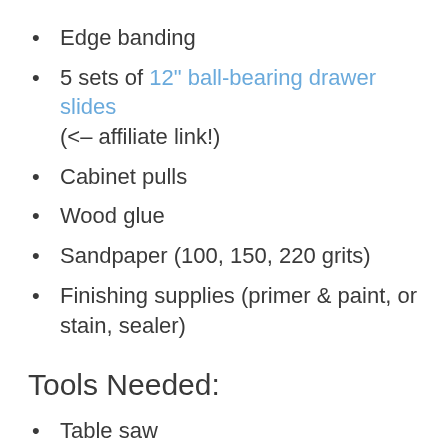Edge banding
5 sets of 12" ball-bearing drawer slides (<– affiliate link!)
Cabinet pulls
Wood glue
Sandpaper (100, 150, 220 grits)
Finishing supplies (primer & paint, or stain, sealer)
Tools Needed:
Table saw